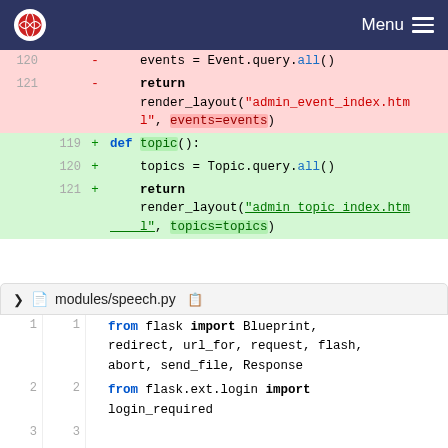Menu
[Figure (screenshot): Code diff block showing lines 120-121 removed (events = Event.query.all(), return render_layout admin_event_index.html events=events) and lines 119-121 added (def topic():, topics = Topic.query.all(), return render_layout admin_topic_index.html topics=topics)]
modules/speech.py
[Figure (screenshot): Code block showing lines 1-4: from flask import Blueprint redirect url_for request flash abort send_file Response; from flask.ext.login import login_required; blank line 3; from models.database import User Statement Speaker Event (line 4 removed)]